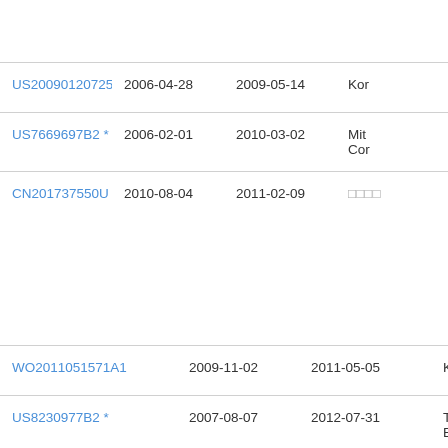| Publication Number | Filing Date | Publication Date | Assignee |
| --- | --- | --- | --- |
| US20090120725A1 | 2006-04-28 | 2009-05-14 | Kor |
| US7669697B2 * | 2006-02-01 | 2010-03-02 | Mit Cor |
| CN201737550U | 2010-08-04 | 2011-02-09 | □□□□ |
| WO2011051571A1 | 2009-11-02 | 2011-05-05 | Kor |
| US8230977B2 * | 2007-08-07 | 2012-07-31 | Thy Ele |